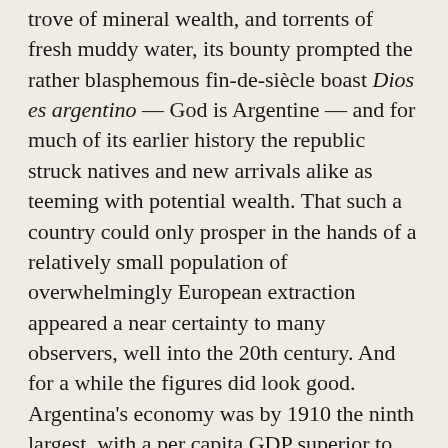trove of mineral wealth, and torrents of fresh muddy water, its bounty prompted the rather blasphemous fin-de-siècle boast Dios es argentino — God is Argentine — and for much of its earlier history the republic struck natives and new arrivals alike as teeming with potential wealth. That such a country could only prosper in the hands of a relatively small population of overwhelmingly European extraction appeared a near certainty to many observers, well into the 20th century. And for a while the figures did look good. Argentina's economy was by 1910 the ninth largest, with a per capita GDP superior to Germany's. The French expression riche comme un Argentin dates from this time. Today it could only sound sarcastic.
Of course the riches of the belle époque were not very evenly distributed. Often prophesied to one day resemble the US, Argentina at its first